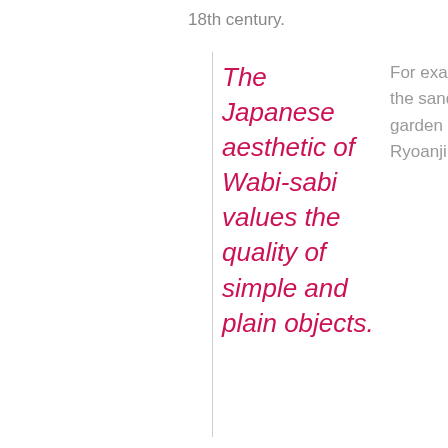18th century.
The Japanese aesthetic of Wabi-sabi values the quality of simple and plain objects.
For example, the sand garden in Ryoanji temple